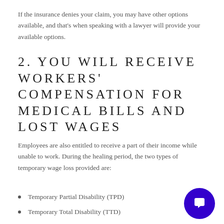If the insurance denies your claim, you may have other options available, and that's when speaking with a lawyer will provide your available options.
2. YOU WILL RECEIVE WORKERS' COMPENSATION FOR MEDICAL BILLS AND LOST WAGES
Employees are also entitled to receive a part of their income while unable to work. During the healing period, the two types of temporary wage loss provided are:
Temporary Partial Disability (TPD)
Temporary Total Disability (TTD)